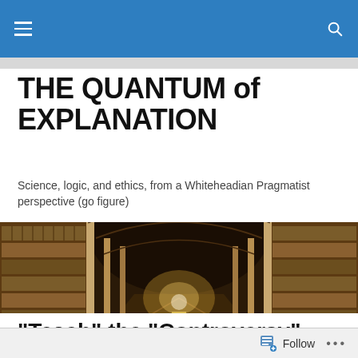THE QUANTUM of EXPLANATION
THE QUANTUM of EXPLANATION
Science, logic, and ethics, from a Whiteheadian Pragmatist perspective (go figure)
[Figure (photo): Interior of a grand historic library with long corridor, tall wooden bookshelves on both sides, arched ceiling, and warm lighting.]
“Teach” the “Controversy”
Follow